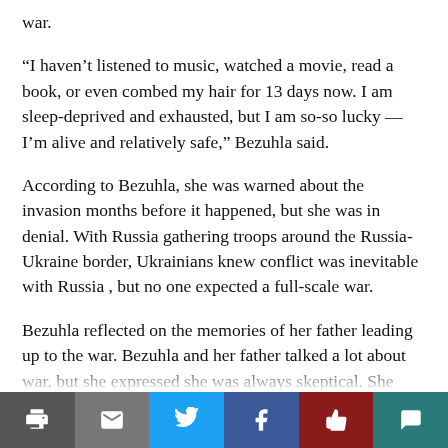war.
“I haven’t listened to music, watched a movie, read a book, or even combed my hair for 13 days now. I am sleep-deprived and exhausted, but I am so-so lucky — I’m alive and relatively safe,” Bezuhla said.
According to Bezuhla, she was warned about the invasion months before it happened, but she was in denial. With Russia gathering troops around the Russia-Ukraine border, Ukrainians knew conflict was inevitable with Russia , but no one expected a full-scale war.
Bezuhla reflected on the memories of her father leading up to the war. Bezuhla and her father talked a lot about war, but she expressed she was always skeptical. She described how her father always